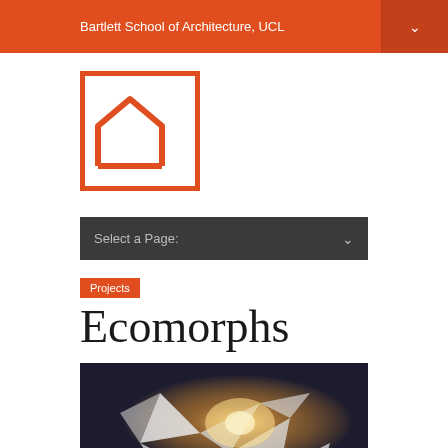Bartlett School of Architecture, UCL
[Figure (logo): Bartlett School of Architecture logo — orange square outline with stylized arch/building mark inside]
Select a Page:
Projects
Ecomorphs
[Figure (photo): Close-up photograph of white origami-like folded structures held up against a backlit sky, with warm golden light glowing through the paper forms]